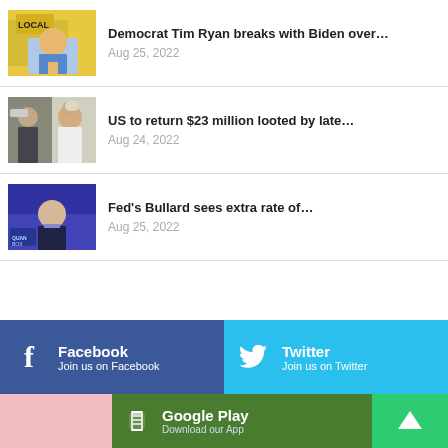[Figure (photo): Photo of Tim Ryan at a campaign event with yellow LOCAL sign]
Democrat Tim Ryan breaks with Biden over…
Aug 25, 2022
[Figure (photo): Photo of two men, one in traditional African attire with white cap]
US to return $23 million looted by late…
Aug 24, 2022
[Figure (photo): TV news anchor on a purple-lit set]
Fed's Bullard sees extra rate of…
Aug 25, 2022
Facebook
Join us on Facebook
Twitter
Join us on Twitter
Google Play
Download our App